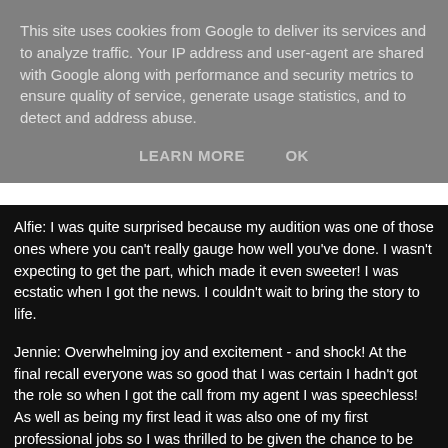This site uses cookies from Google to deliver its services and to analyze traffic. Your IP address and user-agent are shared with Google along with performance and security metrics to ensure quality of service, generate usage statistics, and to detect and address abuse.
LEARN MORE   OK
Alfie: I was quite surprised because my audition was one of those ones where you can't really gauge how well you've done. I wasn't expecting to get the part, which made it even sweeter! I was ecstatic when I got the news. I couldn't wait to bring the story to life.
Jennie: Overwhelming joy and excitement - and shock! At the final recall everyone was so good that I was certain I hadn't got the role so when I got the call from my agent I was speechless! As well as being my first lead it was also one of my first professional jobs so I was thrilled to be given the chance to be part of such an amazing project.
Frazer: This was not just my first lead role, it was my first